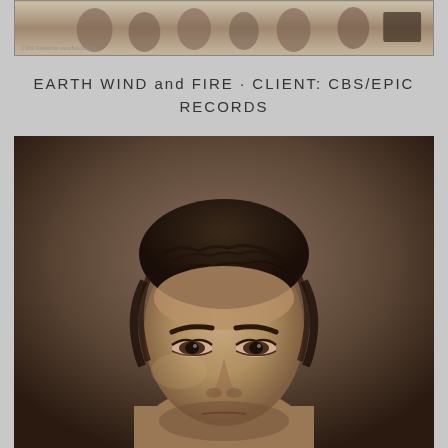[Figure (photo): Small horizontal photograph at top of page showing Earth Wind and Fire promotional image for CBS/Epic Records]
EARTH WIND and FIRE · CLIENT: CBS/EPIC RECORDS
[Figure (photo): Large sepia-toned close-up portrait photograph of a man with dark hair, intense gaze, looking directly at camera. Watermark reads '© Phil Fswannan, www.flaw.smith.co' along right edge.]